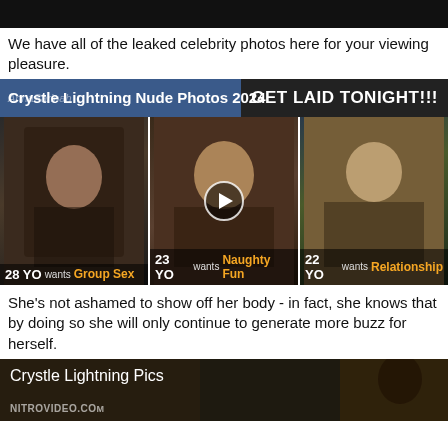[Figure (photo): Dark image strip at top of page]
We have all of the leaked celebrity photos here for your viewing pleasure.
[Figure (infographic): Blue banner reading 'Crystle Lightning Nude Photos 2024' with overlaid ad 'GET LAID TONIGHT!!!']
[Figure (photo): Three thumbnail images in a row. Left: woman, 28 YO wants Group Sex. Center: woman with video play button, 23 YO wants Naughty Fun. Right: woman, 22 YO wants Relationship.]
She's not ashamed to show off her body - in fact, she knows that by doing so she will only continue to generate more buzz for herself.
[Figure (photo): Dark thumbnail panel labeled 'Crystle Lightning Pics' with NITROVIDEO.COM watermark]